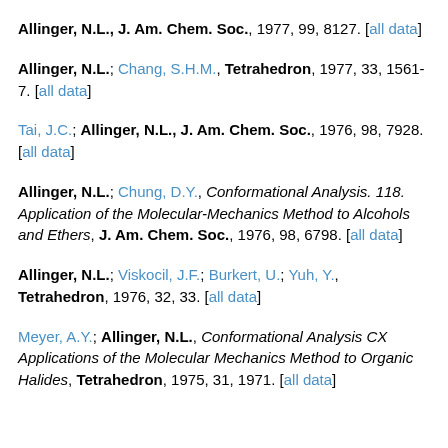Allinger, N.L., J. Am. Chem. Soc., 1977, 99, 8127. [all data]
Allinger, N.L.; Chang, S.H.M., Tetrahedron, 1977, 33, 1561-7. [all data]
Tai, J.C.; Allinger, N.L., J. Am. Chem. Soc., 1976, 98, 7928. [all data]
Allinger, N.L.; Chung, D.Y., Conformational Analysis. 118. Application of the Molecular-Mechanics Method to Alcohols and Ethers, J. Am. Chem. Soc., 1976, 98, 6798. [all data]
Allinger, N.L.; Viskocil, J.F.; Burkert, U.; Yuh, Y., Tetrahedron, 1976, 32, 33. [all data]
Meyer, A.Y.; Allinger, N.L., Conformational Analysis CX Applications of the Molecular Mechanics Method to Organic Halides, Tetrahedron, 1975, 31, 1971. [all data]